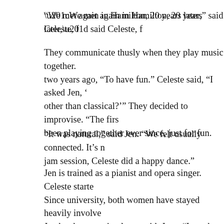“We met again in Hamilton, 20 years later,” said Celeste, f
They communicate thusly when they play music together. two years ago, “To have fun.” Celeste said, “I asked Jen, ‘ other than classical?’” They decided to improvise. “The firs been playing together ever since, just for fun.
“It was natural,” said Jen. “We felt usually connected. It’s n jam session, Celeste did a happy dance.”
Jen is trained as a pianist and opera singer. Celeste starte Since university, both women have stayed heavily involve Jen has been cutting loose with Jazz. “I taught myself to p to sing Jazz. I’m obsessed with it.”
Similarly, Celeste has been applying her musical skills to p which lends itself to improvising. She also performs a lot o beautiful children’s songs. Celeste said they’re grateful for